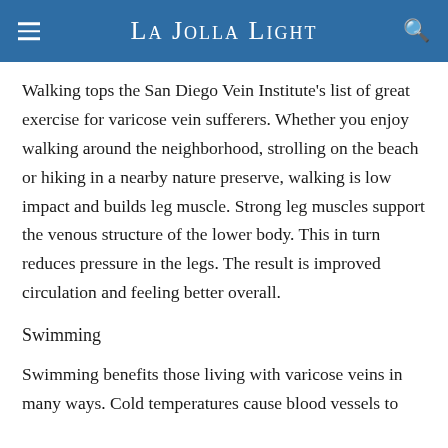La Jolla Light
Walking tops the San Diego Vein Institute's list of great exercise for varicose vein sufferers. Whether you enjoy walking around the neighborhood, strolling on the beach or hiking in a nearby nature preserve, walking is low impact and builds leg muscle. Strong leg muscles support the venous structure of the lower body. This in turn reduces pressure in the legs. The result is improved circulation and feeling better overall.
Swimming
Swimming benefits those living with varicose veins in many ways. Cold temperatures cause blood vessels to